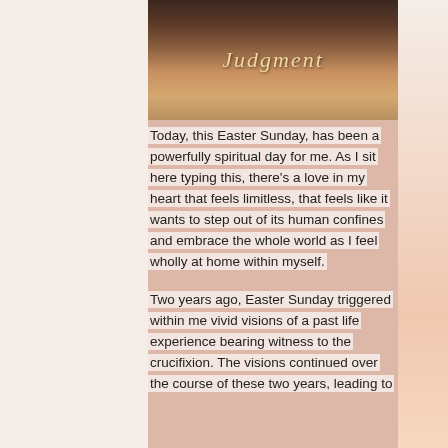[Figure (photo): Blurred image with warm golden-brown tones showing a figure, with the word 'Judgment' overlaid in italic script]
Today, this Easter Sunday, has been a powerfully spiritual day for me. As I sit here typing this, there's a love in my heart that feels limitless, that feels like it wants to step out of its human confines and embrace the whole world as I feel wholly at home within myself.
Two years ago, Easter Sunday triggered within me vivid visions of a past life experience bearing witness to the crucifixion. The visions continued over the course of these two years, leading to